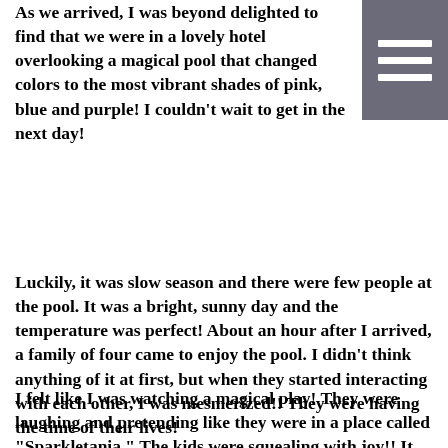As we arrived, I was beyond delighted to find that we were in a lovely hotel overlooking a magical pool that changed colors to the most vibrant shades of pink, blue and purple! I couldn't wait to get in the next day!
[Figure (other): Hamburger menu icon — three horizontal white bars on a dark grey/purple square background]
Luckily, it was slow season and there were few people at the pool. It was a bright, sunny day and the temperature was perfect! About an hour after I arrived, a family of four came to enjoy the pool. I didn't think anything of it at first, but when they started interacting with each other, I was mesmerized!! They were having the time of their lives!
I felt like I was watching a magical play! They were laughing and pretending like they were in a place called "Sparkletania." The kids were squealing with joy!! It was a pure delight to watch.